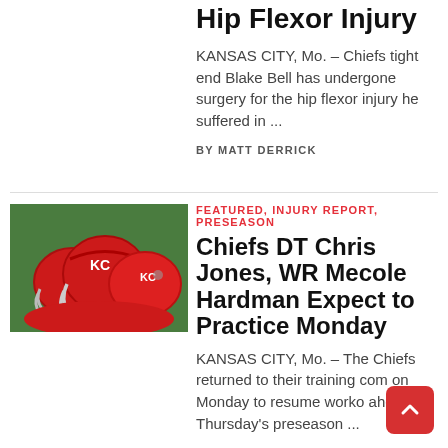Hip Flexor Injury
KANSAS CITY, Mo. – Chiefs tight end Blake Bell has undergone surgery for the hip flexor injury he suffered in ...
BY MATT DERRICK
[Figure (photo): Kansas City Chiefs football helmets in red, stacked on equipment, photographed at training camp]
FEATURED, INJURY REPORT, PRESEASON
Chiefs DT Chris Jones, WR Mecole Hardman Expect to Practice Monday
KANSAS CITY, Mo. – The Chiefs returned to their training comp on Monday to resume workouts ahead of Thursday's preseason ...